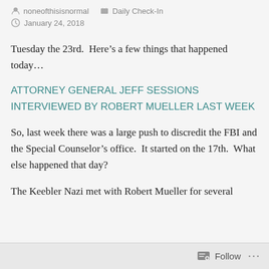noneofthisisnormal  Daily Check-In  January 24, 2018
Tuesday the 23rd.  Here's a few things that happened today…
ATTORNEY GENERAL JEFF SESSIONS INTERVIEWED BY ROBERT MUELLER LAST WEEK
So, last week there was a large push to discredit the FBI and the Special Counselor's office.  It started on the 17th.  What else happened that day?
The Keebler Nazi met with Robert Mueller for several
Follow ...